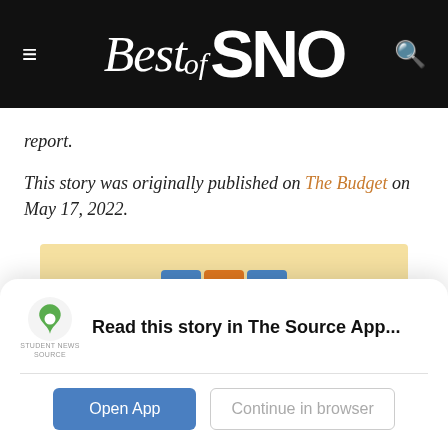[Figure (logo): Best of SNO website header logo with hamburger menu and search icon on black background]
report.
This story was originally published on The Budget on May 17, 2022.
[Figure (logo): SNO ads banner with yellow background showing SNO logo with colored letter boxes and 'ads' text, and a person's head visible on the right]
Read this story in The Source App...
Open App
Continue in browser